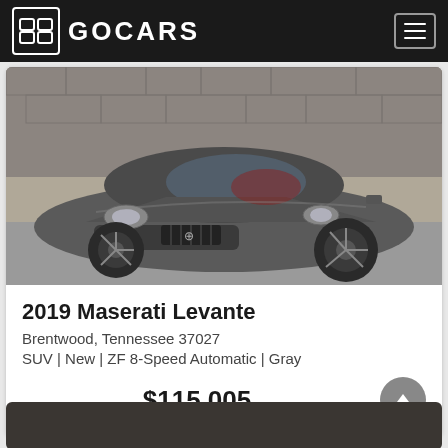GOCARS
[Figure (photo): Gray 2019 Maserati Levante SUV photographed from a front three-quarter angle, parked on pavement with a stone wall in the background. The vehicle has dark alloy wheels, red interior visible through windows, and the Maserati trident emblem on the front grille.]
2019 Maserati Levante
Brentwood, Tennessee 37027
SUV | New | ZF 8-Speed Automatic | Gray
$115,005